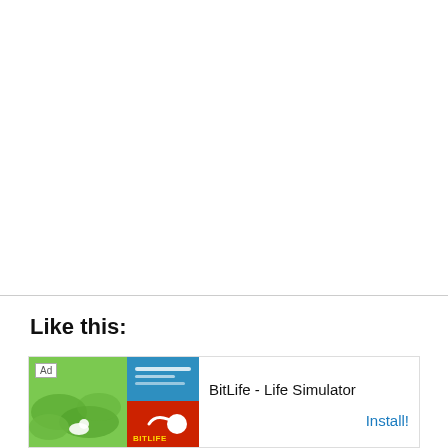Like this:
Loading...
[Figure (other): Advertisement banner for BitLife - Life Simulator app, showing app icon mosaic with green, blue, and red sections, sperm icon, and Install button]